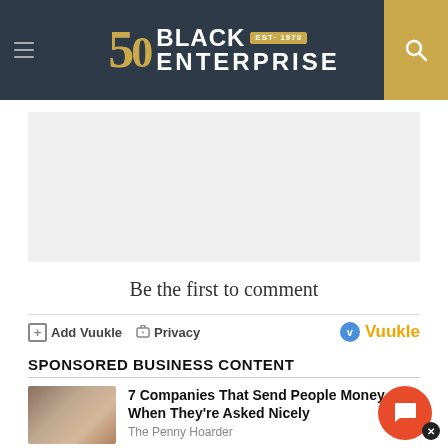Black Enterprise — EST. 1970
[Figure (other): Advertisement placeholder box, light gray background]
Be the first to comment
Add Vuukle  Privacy   Vuukle
SPONSORED BUSINESS CONTENT
7 Companies That Send People Money When They're Asked Nicely — The Penny Hoarder